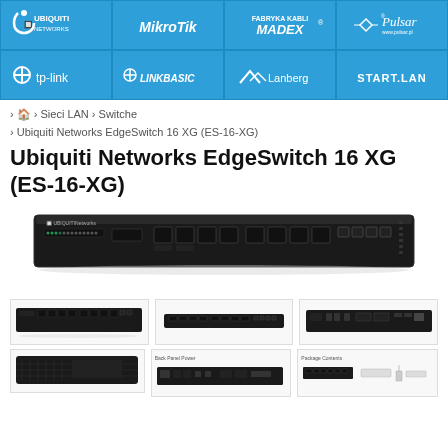[Figure (logo): Header grid with 8 brand logos on blue background: Ubiquiti Networks, MikroTik, Fabryka Kabli MADEX, Pulsar, tp-link, LINKBASIC, Lanberg, START.LAN]
› 🏠 › Sieci LAN › Switche › Ubiquiti Networks EdgeSwitch 16 XG (ES-16-XG)
Ubiquiti Networks EdgeSwitch 16 XG (ES-16-XG)
[Figure (photo): Main product photo of Ubiquiti Networks EdgeSwitch 16 XG rackmount switch, black 1U chassis with SFP+ ports and RJ45 ports on front panel]
[Figure (photo): Three thumbnail product photos of the switch from different angles: front view, top view, side view]
[Figure (photo): Three more thumbnail product photos including a bottom view and package contents images]